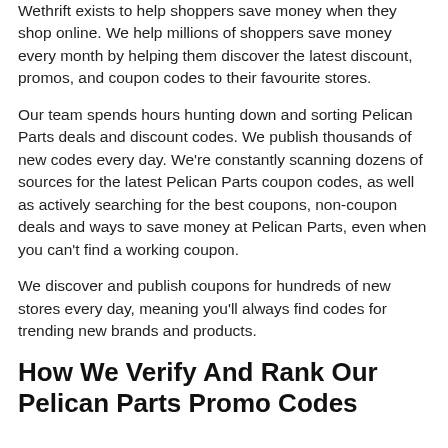Wethrift exists to help shoppers save money when they shop online. We help millions of shoppers save money every month by helping them discover the latest discount, promos, and coupon codes to their favourite stores.
Our team spends hours hunting down and sorting Pelican Parts deals and discount codes. We publish thousands of new codes every day. We're constantly scanning dozens of sources for the latest Pelican Parts coupon codes, as well as actively searching for the best coupons, non-coupon deals and ways to save money at Pelican Parts, even when you can't find a working coupon.
We discover and publish coupons for hundreds of new stores every day, meaning you'll always find codes for trending new brands and products.
How We Verify And Rank Our Pelican Parts Promo Codes